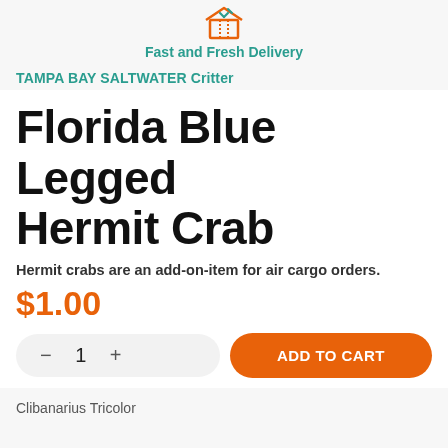[Figure (logo): Orange delivery box icon with lines]
Fast and Fresh Delivery
TAMPA BAY SALTWATER Critter
Florida Blue Legged Hermit Crab
Hermit crabs are an add-on-item for air cargo orders.
$1.00
- 1 + ADD TO CART
Clibanarius Tricolor